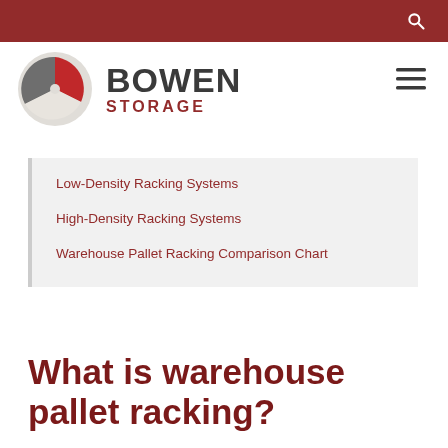[Figure (logo): Bowen Storage logo with circular pie-chart icon in red, grey, and cream, with BOWEN in bold dark grey and STORAGE in red beneath]
Low-Density Racking Systems
High-Density Racking Systems
Warehouse Pallet Racking Comparison Chart
What is warehouse pallet racking?